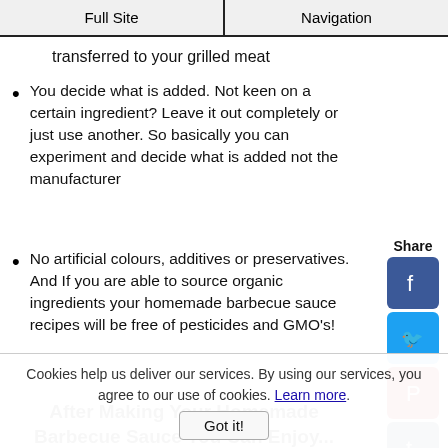Full Site | Navigation
transferred to your grilled meat
You decide what is added. Not keen on a certain ingredient? Leave it out completely or just use another. So basically you can experiment and decide what is added not the manufacturer
No artificial colours, additives or preservatives. And If you are able to source organic ingredients your homemade barbecue sauce recipes will be free of pesticides and GMO's!
After Making Your Homemade Barbecue Sauce You Can Enjoy...
[Figure (photo): Three bowls/plates of spices and seasonings: brown sugar, red spice mix, and grey/black pepper mix]
Cookies help us deliver our services. By using our services, you agree to our use of cookies. Learn more.
Got it!